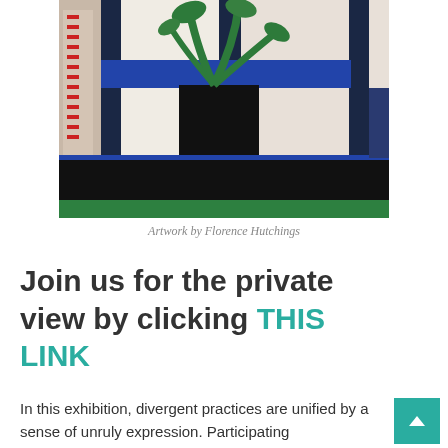[Figure (illustration): Painting artwork by Florence Hutchings showing a plant in a dark pot on a black surface, with blue, white, and patterned background panels]
Artwork by Florence Hutchings
Join us for the private view by clicking THIS LINK
In this exhibition, divergent practices are unified by a sense of unruly expression. Participating